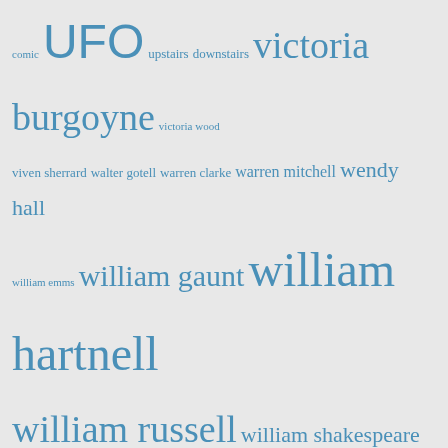comic UFO upstairs downstairs victoria burgoyne victoria wood viven sherrard walter gotell warren clarke warren mitchell wendy hall william emms william gaunt william hartnell william russell william shakespeare william squire willoughby gray ww2 documentary youtube z cars zodiac
BLOGS I FOLLOW
The Green Capsule
Randomwhoness: a Doctor Who blog by Johnny Spandrell.
Harold Pinter: Histories & Legacies
RAVINGS IN CINEMASCOPE
Darren's music blog
The Grandest Game in the World
WATCHING BLAKE'S 7
Theatre Musings
Deep South Whovian
Telly Addict